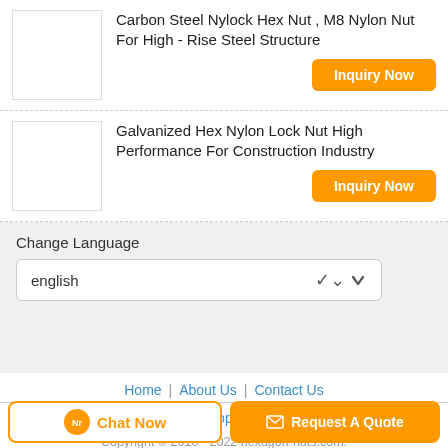Carbon Steel Nylock Hex Nut , M8 Nylon Nut For High - Rise Steel Structure
Inquiry Now
Galvanized Hex Nylon Lock Nut High Performance For Construction Industry
Inquiry Now
Change Language
english
Home | About Us | Contact Us
Desktop View
Copyright © 2018 - 2022 hexagon-nuts.com.
All rights reserved.
Chat Now
Request A Quote